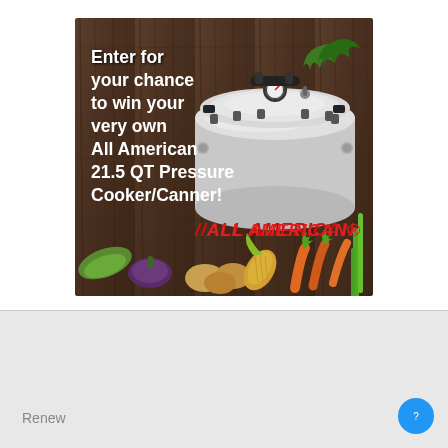[Figure (infographic): Advertisement image for All American 21.5 QT Pressure Cooker/Canner giveaway. Dark wood background with a large silver pressure cooker/canner in the center-right. Text on the left reads 'Enter for your chance to win your very own All American 21.5 QT Pressure Cooker/Canner!' in white bold font. The red 'ALL AMERICAN' brand logo is at the bottom-center. Various vegetables (carrots, corn, potatoes, eggplant, squash, green onions) are arranged at the bottom.]
Renew